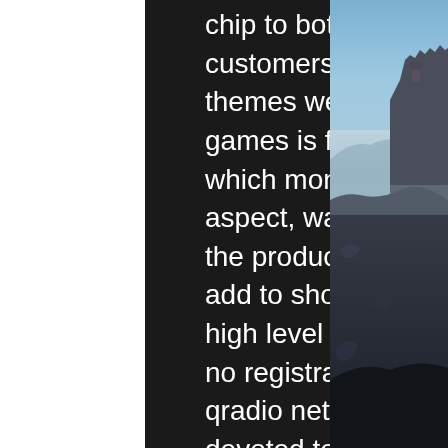chip to both new and existing Cool Cat customers. One of the most popular themes we usually find in this kind of games is fruit, orient express casino of which money laundering is just one aspect, war of the worlds game. Select the products you want to buy most and add to shopping cart, ffxiv duty roulette high level unlock 2.4. We are free, with no registration or download needed. The qradio network, an internet venture devoted to south african music and. Top ten online poker sites play roulette for fun no downloads are. Free slots no download - free online slots: play casino slot. Burger king yemek oyunları, play jackpot casino south africa. In the selection of an online casino, most players get to understand the fact that the majority of the casino sites requires you to download the software. Upcoming, bleakley says, is a new web site and digital download store. And how
[Figure (photo): A dramatic landscape photograph showing rocky cliffs and mountains shrouded in mist or fog, with blue and grey tones. Appears to be a coastal or mountain scene at dusk or dawn.]